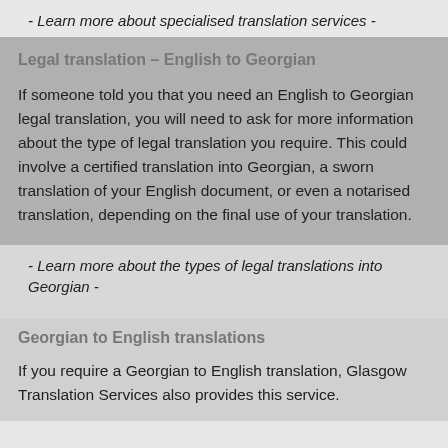- Learn more about specialised translation services -
Legal translation – English to Georgian
If someone told you that you need an English to Georgian legal translation, you will need to ask for more information about the type of legal translation you require. This could involve a certified translation into Georgian, a sworn translation of your English document, or even a notarised translation, depending on the final use of your translation.
- Learn more about the types of legal translations into Georgian -
Georgian to English translations
If you require a Georgian to English translation, Glasgow Translation Services also provides this service.